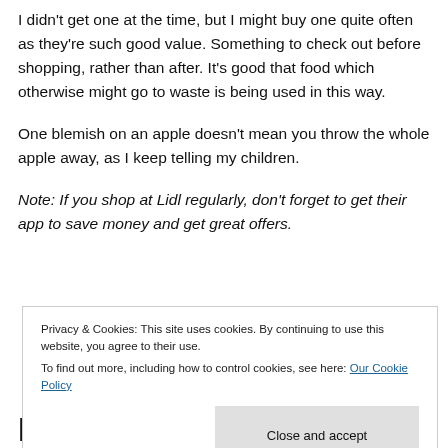I didn't get one at the time, but I might buy one quite often as they're such good value. Something to check out before shopping, rather than after. It's good that food which otherwise might go to waste is being used in this way.
One blemish on an apple doesn't mean you throw the whole apple away, as I keep telling my children.
Note: If you shop at Lidl regularly, don't forget to get their app to save money and get great offers.
Privacy & Cookies: This site uses cookies. By continuing to use this website, you agree to their use. To find out more, including how to control cookies, see here: Our Cookie Policy
Plastic Packaging for